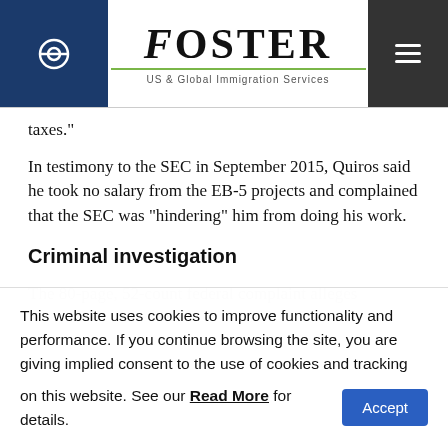Foster US & Global Immigration Services
taxes."
In testimony to the SEC in September 2015, Quiros said he took no salary from the EB-5 projects and complained that the SEC was “hindering” him from doing his work.
Criminal investigation
The 80-page, 52-count federal complaint alleges
This website uses cookies to improve functionality and performance. If you continue browsing the site, you are giving implied consent to the use of cookies and tracking on this website. See our Read More for details.